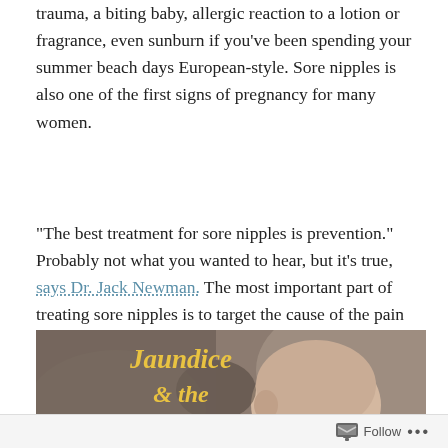trauma, a biting baby, allergic reaction to a lotion or fragrance, even sunburn if you've been spending your summer beach days European-style. Sore nipples is also one of the first signs of pregnancy for many women.
"The best treatment for sore nipples is prevention." Probably not what you wanted to hear, but it's true, says Dr. Jack Newman. The most important part of treating sore nipples is to target the cause of the pain and effectively treating that. Read More
[Figure (photo): Photo of a sleeping newborn baby with text overlay reading 'Jaundice & the Breastfed Baby' in gold italic script]
Follow ...